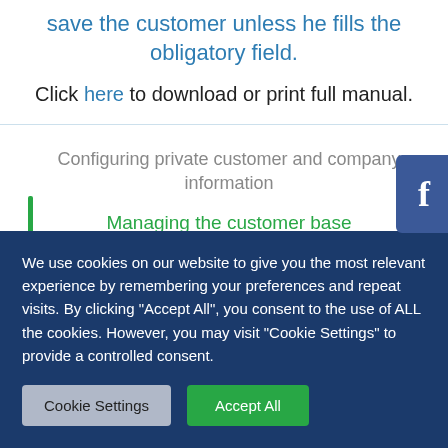save the customer unless he fills the obligatory field.
Click here to download or print full manual.
[Figure (logo): Facebook button icon (dark blue rounded rectangle with white 'f' letter)]
Configuring private customer and company information
Managing the customer base
We use cookies on our website to give you the most relevant experience by remembering your preferences and repeat visits. By clicking "Accept All", you consent to the use of ALL the cookies. However, you may visit "Cookie Settings" to provide a controlled consent.
Cookie Settings
Accept All